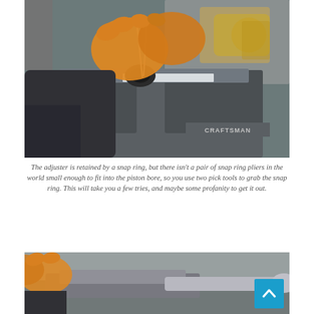[Figure (photo): Person wearing orange latex gloves using two pick tools to manipulate a snap ring inside a piston bore of a mechanical part clamped in a Craftsman bench vise, in a workshop setting with tools visible in background]
The adjuster is retained by a snap ring, but there isn't a pair of snap ring pliers in the world small enough to fit into the piston bore, so you use two pick tools to grab the snap ring. This will take you a few tries, and maybe some profanity to get it out.
[Figure (photo): Close-up photo of hands working on a mechanical component, partially visible at bottom of page]